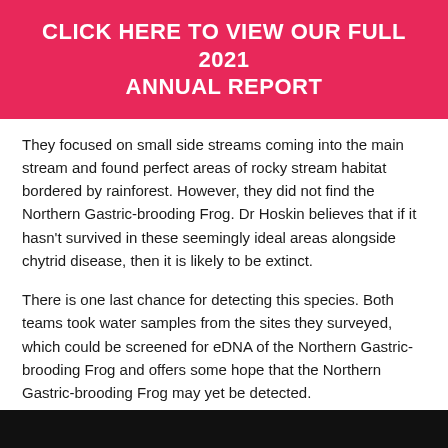CLICK HERE TO VIEW OUR FULL 2021 ANNUAL REPORT
They focused on small side streams coming into the main stream and found perfect areas of rocky stream habitat bordered by rainforest. However, they did not find the Northern Gastric-brooding Frog. Dr Hoskin believes that if it hasn't survived in these seemingly ideal areas alongside chytrid disease, then it is likely to be extinct.
There is one last chance for detecting this species. Both teams took water samples from the sites they surveyed, which could be screened for eDNA of the Northern Gastric-brooding Frog and offers some hope that the Northern Gastric-brooding Frog may yet be detected.